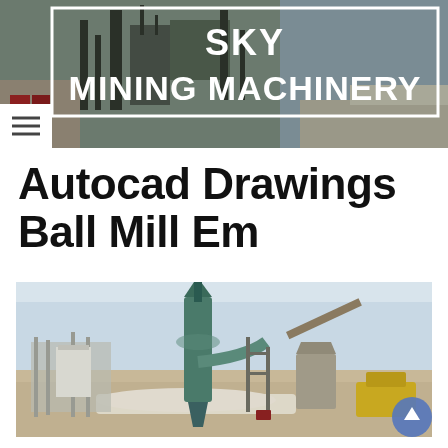[Figure (screenshot): Website header banner for SKY MINING MACHINERY showing industrial mining facility in background with white rectangular border overlay containing the company name in bold white text, and a hamburger menu icon in white box at bottom left]
Autocad Drawings Ball Mill Em
[Figure (photo): Outdoor industrial milling plant with green cyclone separator/dust collector tower, metal framework building structure, conveyor systems, and mining equipment on sandy desert terrain under clear sky]